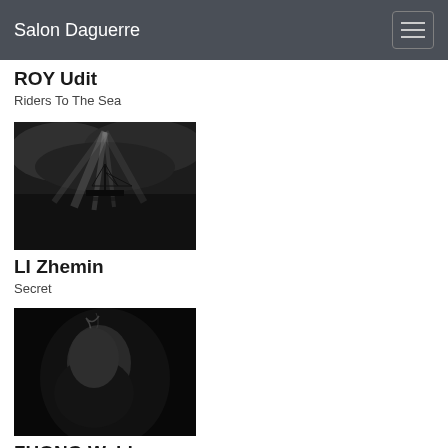Salon Daguerre
ROY Udit
Riders To The Sea
[Figure (photo): Black and white photograph of a sailing ship on water with dramatic light rays breaking through stormy clouds]
LI Zhemin
Secret
[Figure (photo): Black and white portrait of a person smoking, dark background, moody lighting]
ZHONG Weidong
Old Smoke Cavity